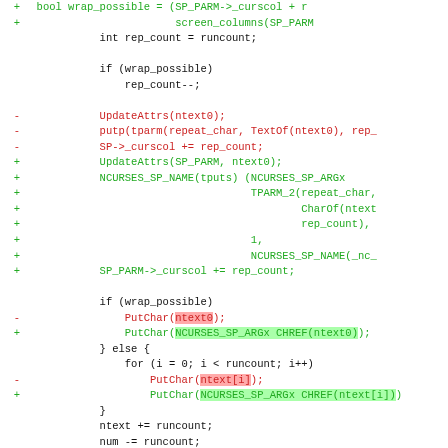[Figure (screenshot): Code diff screenshot showing changes to a C source file, with green lines for additions, red lines for deletions, and magenta for diff hunk headers. The diff modifies EmitRange function to use SP_PARM parameter and NCURSES_SP_NAME/NCURSES_SP_ARGx macros.]